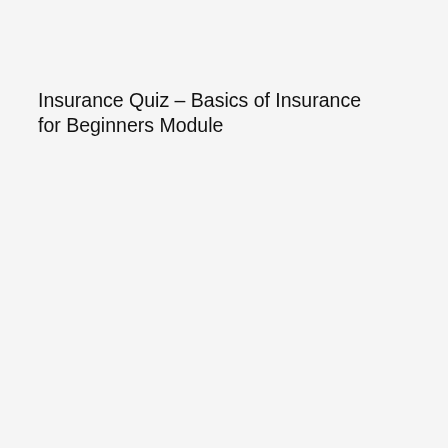Insurance Quiz – Basics of Insurance for Beginners Module